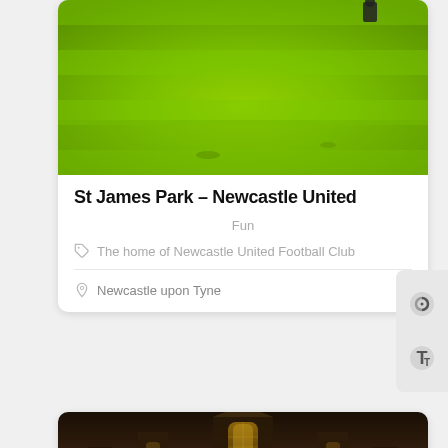[Figure (photo): Aerial view of a bright green football pitch/grass field with a player visible in the top right corner]
St James Park – Newcastle United
Fun
The home of Newcastle United Football Club
Newcastle upon Tyne
[Figure (photo): Interior of an ornate Gothic cathedral or hall with elaborate carved wooden choir stalls and architectural details, lit with golden light]